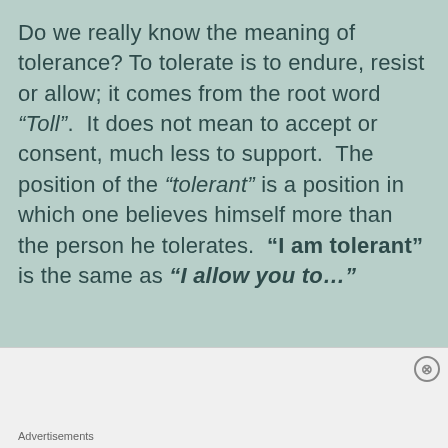Do we really know the meaning of tolerance? To tolerate is to endure, resist or allow; it comes from the root word “Toll”.  It does not mean to accept or consent, much less to support.  The position of the “tolerant” is a position in which one believes himself more than the person he tolerates.  “I am tolerant” is the same as “I allow you to…”
To tolerate is to admit what is tolerated does not cause you sympathy, you do not
Advertisements